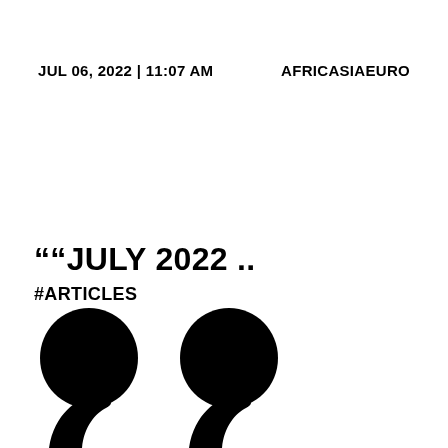JUL 06, 2022 | 11:07 AM    AFRICASIAEURO
““JULY 2022 ..
#ARTICLES
[Figure (illustration): Large decorative opening quotation marks rendered in black, partially cropped at the bottom of the page]